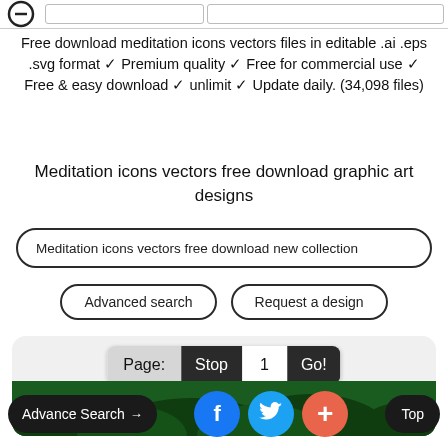[Figure (screenshot): Top navigation bar with minus icon and two input fields]
Free download meditation icons vectors files in editable .ai .eps .svg format ✓ Premium quality ✓ Free for commercial use ✓ Free & easy download ✓ unlimit ✓ Update daily. (34,098 files)
Meditation icons vectors free download graphic art designs
Meditation icons vectors free download new collection
Advanced search
Request a design
[Figure (screenshot): Content card with pagination bar showing Page: Stop 1 Go! and green decorative image area at bottom]
Advance Search →
Top